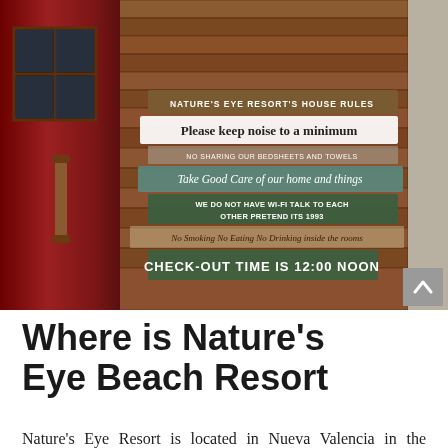[Figure (photo): Photo of Nature's Eye Resort house rules sign board made of wooden planks mounted on a wooden wall, with a red door visible on the left side. Signs read: NATURE'S EYE RESORT'S HOUSE RULES, Please keep noise to a minimum, No Sharing our bedsheets and towels, Take Good Care of our home and things, WE DO NOT HAVE WI-FI TALK TO EACH OTHER PRETEND ITS 1993, No Smoking No Eating No Drinking inside the rooms, CHECK OUT TIME IS 12:00 NOON]
Where is Nature's Eye Beach Resort
Nature's Eye Resort is located in Nueva Valencia in the province of Guimaras. The resort is perched on